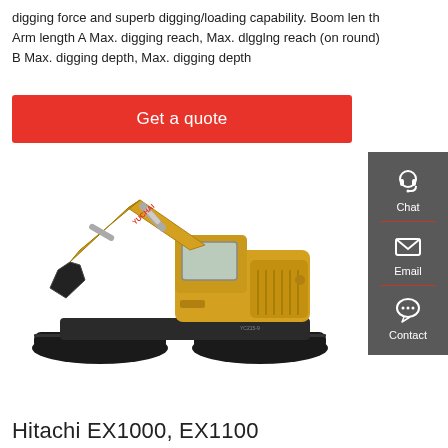digging force and superb digging/loading capability. Boom length Arm length A Max. digging reach, Max. dlgglng reach (on round) B Max. digging depth, Max. digging depth
Get a quote
[Figure (photo): Yuchai excavator (yellow crawler excavator) side view on white background]
Chat
Email
Contact
Hitachi EX1000, EX1100